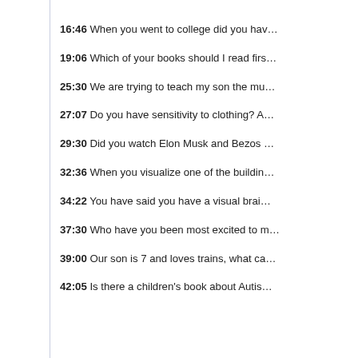16:46 When you went to college did you hav…
19:06 Which of your books should I read firs…
25:30 We are trying to teach my son the mu…
27:07 Do you have sensitivity to clothing?  A…
29:30 Did you watch Elon Musk and Bezos …
32:36 When you visualize one of the buildin…
34:22 You have said you have a visual brai…
37:30 Who have you been most excited to m…
39:00 Our son is 7 and loves trains, what ca…
42:05 Is there a children's book about Autis…